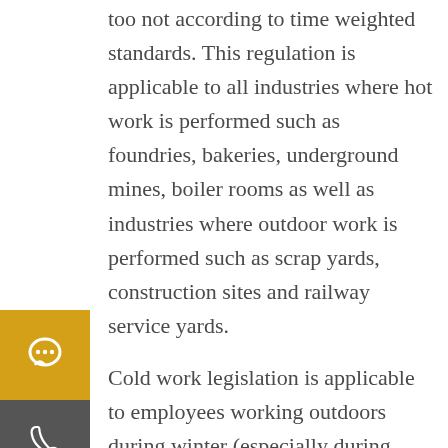too not according to time weighted standards. This regulation is applicable to all industries where hot work is performed such as foundries, bakeries, underground mines, boiler rooms as well as industries where outdoor work is performed such as scrap yards, construction sites and railway service yards.
Cold work legislation is applicable to employees working outdoors during winter (especially during evenings) as well as areas where refrigeration is used. Thermal stress measurements should be taken during specific periods of the year: December – February and